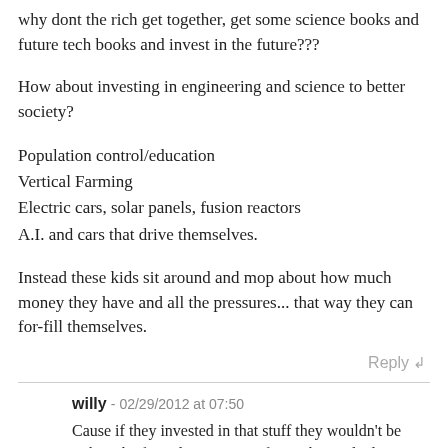why dont the rich get together, get some science books and future tech books and invest in the future???
How about investing in engineering and science to better society?
Population control/education
Vertical Farming
Electric cars, solar panels, fusion reactors
A.I. and cars that drive themselves.
Instead these kids sit around and mop about how much money they have and all the pressures... that way they can for-fill themselves.
Reply ↲
willy - 02/29/2012 at 07:50
Cause if they invested in that stuff they wouldn't be rich in the first place Matt. In fact rich people don't need to invest in anything at all. They have all the